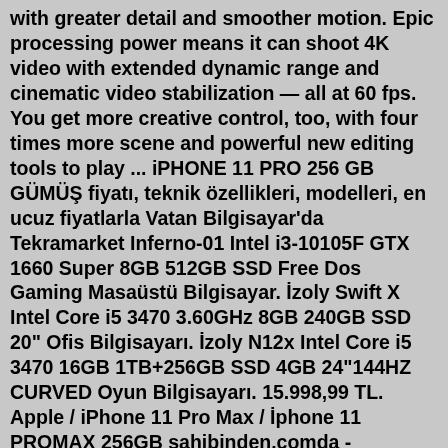with greater detail and smoother motion. Epic processing power means it can shoot 4K video with extended dynamic range and cinematic video stabilization — all at 60 fps. You get more creative control, too, with four times more scene and powerful new editing tools to play ... iPHONE 11 PRO 256 GB GÜMÜŞ fiyatı, teknik özellikleri, modelleri, en ucuz fiyatlarla Vatan Bilgisayar'da Tekramarket Inferno-01 Intel i3-10105F GTX 1660 Super 8GB 512GB SSD Free Dos Gaming Masaüstü Bilgisayar. İzoly Swift X Intel Core i5 3470 3.60GHz 8GB 240GB SSD 20" Ofis Bilgisayarı. İzoly N12x Intel Core i5 3470 16GB 1TB+256GB SSD 4GB 24"144HZ CURVED Oyun Bilgisayarı. 15.998,99 TL. Apple / iPhone 11 Pro Max / İphone 11 PROMAX 256GB sahibinden.comda - 1042635636. Apple / iPhone 11 Pro Max / İphone 11 PROMAX 256GB sahibinden.comda - 1042635636! sahibinden.com anasayfasına dön. Detaylı Arama. Giriş Yap; Hesap Aç ... Tebrikler, artık bu ilan ve ilgili fiyat değişikliklerinden haberdar olacaksınız.This item: 2021 Apple 11-inch iPad Pro (Wi-Fi, 256GB) -